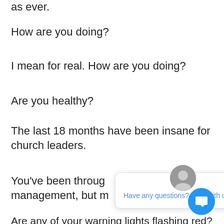as ever.
How are you doing?
I mean for real. How are you doing?
Are you healthy?
The last 18 months have been insane for church leaders.
You've been through crisis management, but more...
Are any of your warning lights flashing red?
Do you know what your warning indicators are?